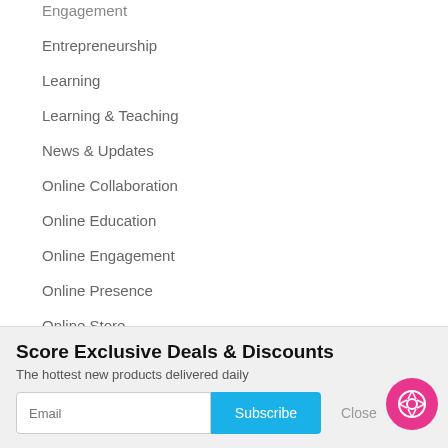Engagement
Entrepreneurship
Learning
Learning & Teaching
News & Updates
Online Collaboration
Online Education
Online Engagement
Online Presence
Online Store
Presence
Score Exclusive Deals & Discounts
The hottest new products delivered daily
[Figure (other): Email subscription form with email input field, Subscribe button, and Close button]